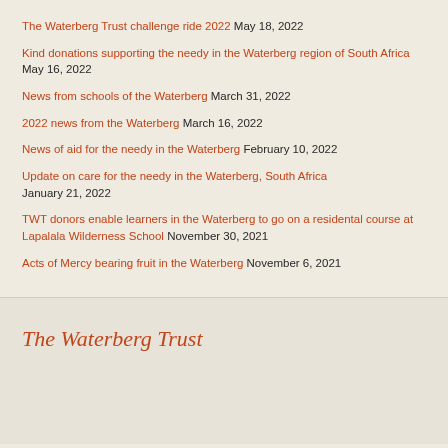The Waterberg Trust challenge ride 2022 May 18, 2022
Kind donations supporting the needy in the Waterberg region of South Africa May 16, 2022
News from schools of the Waterberg March 31, 2022
2022 news from the Waterberg March 16, 2022
News of aid for the needy in the Waterberg February 10, 2022
Update on care for the needy in the Waterberg, South Africa January 21, 2022
TWT donors enable learners in the Waterberg to go on a residental course at Lapalala Wilderness School November 30, 2021
Acts of Mercy bearing fruit in the Waterberg November 6, 2021
The Waterberg Trust